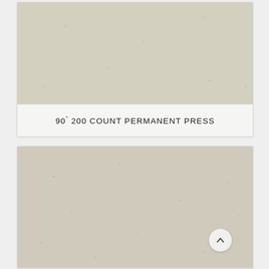[Figure (photo): Close-up photograph of natural linen/cotton fabric texture showing woven threads, beige/ecru color with small flecks. Displayed in a card with a label band at the bottom.]
90" 200 COUNT PERMANENT PRESS
[Figure (photo): Close-up photograph of similar natural linen/cotton fabric texture, beige/ecru color with woven thread pattern, slightly different lighting than the first image.]